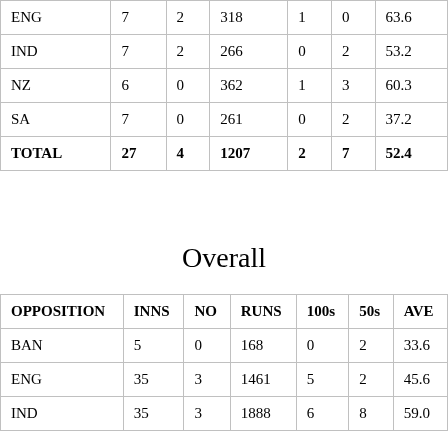| OPPOSITION | INNS | NO | RUNS | 100s | 50s | AVE |
| --- | --- | --- | --- | --- | --- | --- |
| ENG | 7 | 2 | 318 | 1 | 0 | 63.6... |
| IND | 7 | 2 | 266 | 0 | 2 | 53.2... |
| NZ | 6 | 0 | 362 | 1 | 3 | 60.3... |
| SA | 7 | 0 | 261 | 0 | 2 | 37.2... |
| TOTAL | 27 | 4 | 1207 | 2 | 7 | 52.4... |
Overall
| OPPOSITION | INNS | NO | RUNS | 100s | 50s | AVE |
| --- | --- | --- | --- | --- | --- | --- |
| BAN | 5 | 0 | 168 | 0 | 2 | 33.6... |
| ENG | 35 | 3 | 1461 | 5 | 2 | 45.6... |
| IND | 35 | 3 | 1888 | 6 | 8 | 59.0... |